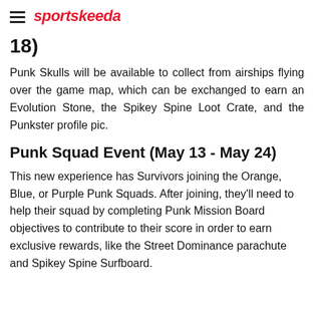sportskeeda
18)
Punk Skulls will be available to collect from airships flying over the game map, which can be exchanged to earn an Evolution Stone, the Spikey Spine Loot Crate, and the Punkster profile pic.
Punk Squad Event (May 13 - May 24)
This new experience has Survivors joining the Orange, Blue, or Purple Punk Squads. After joining, they'll need to help their squad by completing Punk Mission Board objectives to contribute to their score in order to earn exclusive rewards, like the Street Dominance parachute and Spikey Spine Surfboard.